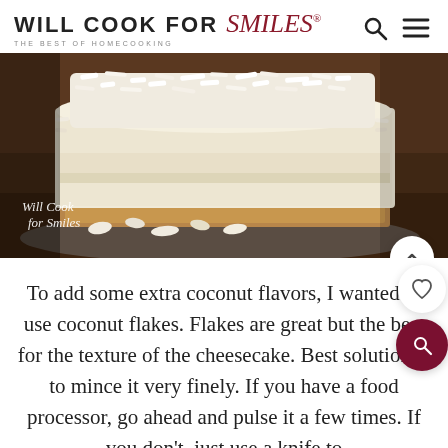WILL COOK FOR Smiles® THE BEST OF HOMECOOKING
[Figure (photo): Close-up photo of a slice of coconut cheesecake on a glass plate, with shredded coconut on top and a graham cracker crust. Watermark reads 'Will Cook for Smiles'.]
To add some extra coconut flavors, I wanted to use coconut flakes. Flakes are great but the best for the texture of the cheesecake. Best solution is to mince it very finely. If you have a food processor, go ahead and pulse it a few times. If you don't, just use a knife to